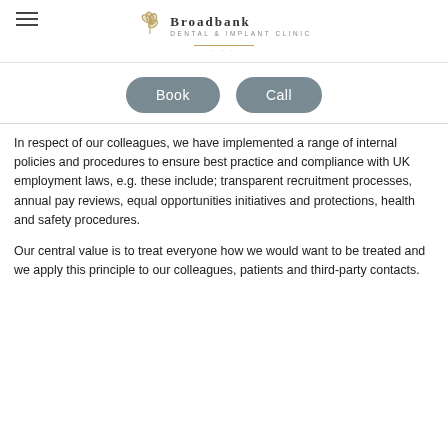Broadbank Dental & Implant Clinic
[Figure (other): Book and Call rounded rectangle buttons in grey]
In respect of our colleagues, we have implemented a range of internal policies and procedures to ensure best practice and compliance with UK employment laws, e.g. these include; transparent recruitment processes, annual pay reviews, equal opportunities initiatives and protections, health and safety procedures.
Our central value is to treat everyone how we would want to be treated and we apply this principle to our colleagues, patients and third-party contacts.